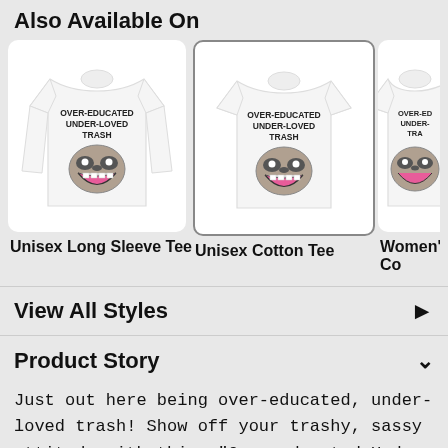Also Available On
[Figure (photo): Unisex Long Sleeve Tee with raccoon design saying OVER-EDUCATED UNDER-LOVED TRASH]
[Figure (photo): Unisex Cotton Tee with raccoon design saying OVER-EDUCATED UNDER-LOVED TRASH (selected/highlighted)]
[Figure (photo): Women's Cotton Tee (partially visible) with raccoon design]
View All Styles
Product Story
Just out here being over-educated, under-loved trash! Show off your trashy, sassy attitude with this, "Over-educated Under-loved Trash" raccoon design! Perfect for being a lonely, millennial, garbage animal!